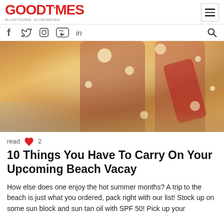GOODTiMES #LIVEYOUNG #LIVEINDIAN
[Figure (photo): Two women in bikinis walking on a beach with surfboards, bokeh light effects, warm sunset tones]
read  ♥ 2
10 Things You Have To Carry On Your Upcoming Beach Vacay
How else does one enjoy the hot summer months? A trip to the beach is just what you ordered, pack right with our list! Stock up on some sun block and sun tan oil with SPF 50! Pick up your